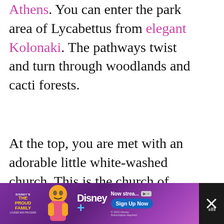Athens. You can enter the park area of Lycabettus from elegant Kolonaki. The pathways twist and turn through woodlands and cacti forests.
At the top, you are met with an adorable little white-washed church. This is the church of Agios Georgios and it is free to enter.
The peak of Lycabettus provides incredible panoramas across th... On a clear day, you can see all the way...
[Figure (screenshot): Advertisement banner at the bottom: Disney's The Proud Family streaming on Disney+. Purple gradient background with animated character, Disney+ wordmark, 'Now streaming' text, and 'Sign Up Now' button. A dark close button on the right.]